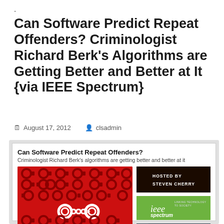-
Can Software Predict Repeat Offenders? Criminologist Richard Berk’s Algorithms are Getting Better and Better at It {via IEEE Spectrum}
August 17, 2012   clsadmin
[Figure (screenshot): Embedded webpage screenshot showing 'Can Software Predict Repeat Offenders?' article preview with a Techwise Conversations podcast video thumbnail (red binary pattern background with handcuffs icon), 'Hosted by Steven Cherry' box, IEEE Spectrum logo, and a person image. Below the video: 'Click Here to Access!']